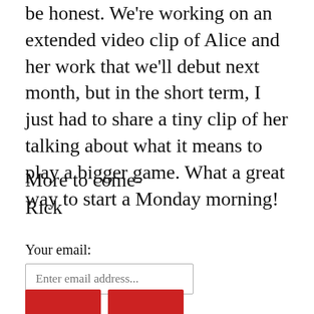be honest. We're working on an extended video clip of Alice and her work that we'll debut next month, but in the short term, I just had to share a tiny clip of her talking about what it means to play a bigger game. What a great way to start a Monday morning!
More to come-
Rick
Your email: